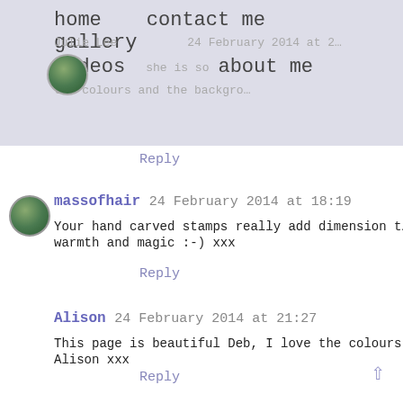home   contact me   gallery   videos   about me
Julie Lee ... 24 February 2014 at 2... she is so... the colours and the background
Reply
massofhair 24 February 2014 at 18:19
Your hand carved stamps really add dimension t... warmth and magic :-) xxx
Reply
Alison 24 February 2014 at 21:27
This page is beautiful Deb, I love the colours! Your ho... Alison xxx
Reply